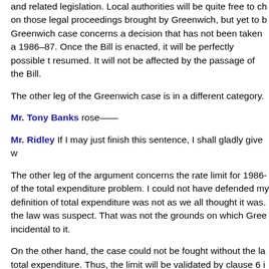and related legislation. Local authorities will be quite free to ch on those legal proceedings brought by Greenwich, but yet to b Greenwich case concerns a decision that has not been taken a 1986–87. Once the Bill is enacted, it will be perfectly possible t resumed. It will not be affected by the passage of the Bill.
The other leg of the Greenwich case is in a different category.
Mr. Tony Banks rose——
Mr. Ridley If I may just finish this sentence, I shall gladly give w
The other leg of the argument concerns the rate limit for 1986- of the total expenditure problem. I could not have defended my definition of total expenditure was not as we all thought it was. the law was suspect. That was not the grounds on which Gree incidental to it.
On the other hand, the case could not be fought without the la total expenditure. Thus, the limit will be validated by clause 6 i affect it.